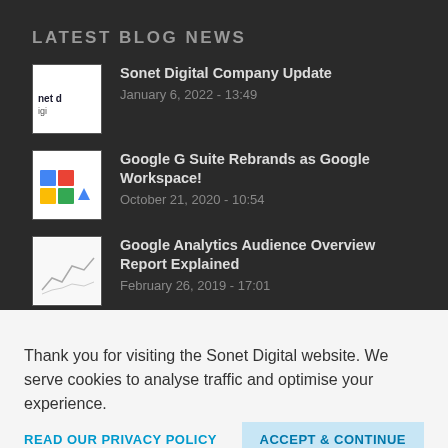LATEST BLOG NEWS
Sonet Digital Company Update
January 6, 2022 - 13:49
Google G Suite Rebrands as Google Workspace!
October 21, 2020 - 10:54
Google Analytics Audience Overview Report Explained
February 26, 2019 - 17:01
Thank you for visiting the Sonet Digital website. We serve cookies to analyse traffic and optimise your experience.
READ OUR PRIVACY POLICY
ACCEPT & CONTINUE